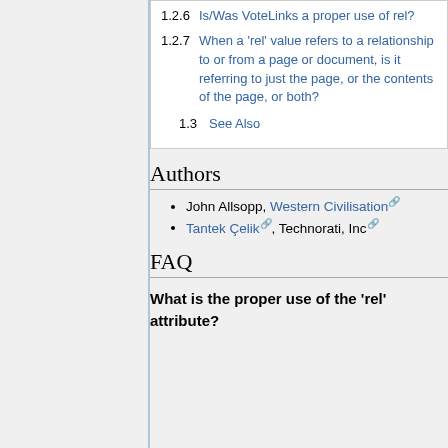1.2.6 Is/Was VoteLinks a proper use of rel?
1.2.7 When a 'rel' value refers to a relationship to or from a page or document, is it referring to just the page, or the contents of the page, or both?
1.3 See Also
Authors
John Allsopp, Western Civilisation
Tantek Çelik, Technorati, Inc
FAQ
What is the proper use of the 'rel' attribute?